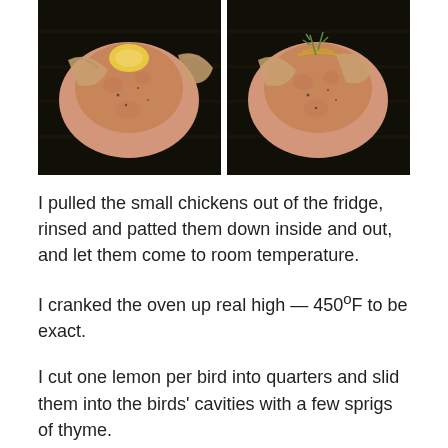[Figure (photo): Two side-by-side photographs of raw small chickens being prepared on a dark wooden surface, one showing lemon quarters being inserted and the other showing twine/herbs being tied.]
I pulled the small chickens out of the fridge, rinsed and patted them down inside and out, and let them come to room temperature.
I cranked the oven up real high — 450ºF to be exact.
I cut one lemon per bird into quarters and slid them into the birds' cavities with a few sprigs of thyme.
I loosened the skin around the breasts and slid a few more sprigs of thyme into each pocket.
I rubbed the birds with olive oil and sprinkled them with a lot of salt and pepper.